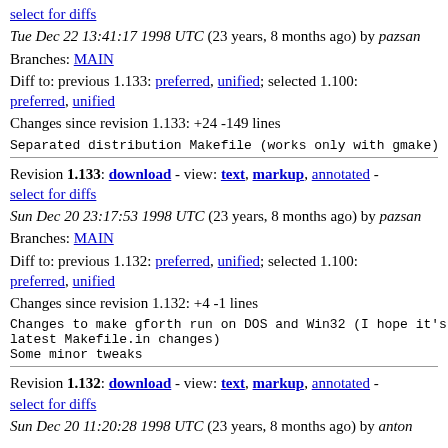select for diffs
Tue Dec 22 13:41:17 1998 UTC (23 years, 8 months ago) by pazsan
Branches: MAIN
Diff to: previous 1.133: preferred, unified; selected 1.100: preferred, unified
Changes since revision 1.133: +24 -149 lines
Separated distribution Makefile (works only with gmake)
Revision 1.133: download - view: text, markup, annotated - select for diffs
Sun Dec 20 23:17:53 1998 UTC (23 years, 8 months ago) by pazsan
Branches: MAIN
Diff to: previous 1.132: preferred, unified; selected 1.100: preferred, unified
Changes since revision 1.132: +4 -1 lines
Changes to make gforth run on DOS and Win32 (I hope it's latest Makefile.in changes)
Some minor tweaks
Revision 1.132: download - view: text, markup, annotated - select for diffs
Sun Dec 20 11:20:28 1998 UTC (23 years, 8 months ago) by anton